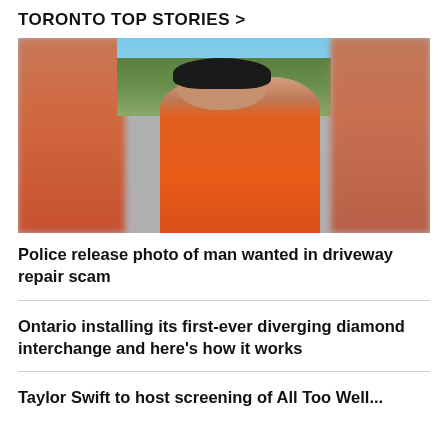TORONTO TOP STORIES >
[Figure (photo): Photo of a man in an orange t-shirt, outdoors with trees and a car in the background. The image appears to be from a video, with blurred edges on left and right sides.]
Police release photo of man wanted in driveway repair scam
Ontario installing its first-ever diverging diamond interchange and here's how it works
Taylor Swift to host screening of All Too Well...